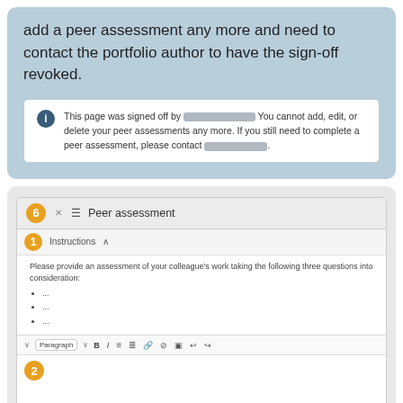add a peer assessment any more and need to contact the portfolio author to have the sign-off revoked.
This page was signed off by [redacted]. You cannot add, edit, or delete your peer assessments any more. If you still need to complete a peer assessment, please contact [redacted].
[Figure (screenshot): Screenshot of a Peer assessment UI panel with numbered callouts. Shows: header with number 6 badge and 'Peer assessment' title, Instructions section (callout 1) with text 'Please provide an assessment of your colleague's work taking the following three questions into consideration:' and three bullet points '...', a rich text editor toolbar (Paragraph, B, I, list buttons, link, image, undo/redo), an editor area with callout number 2 badge, a word count area showing '0 WORDS', and a bottom bar with callout 3 badge and Save draft, Add, Cancel, callout 5 buttons.]